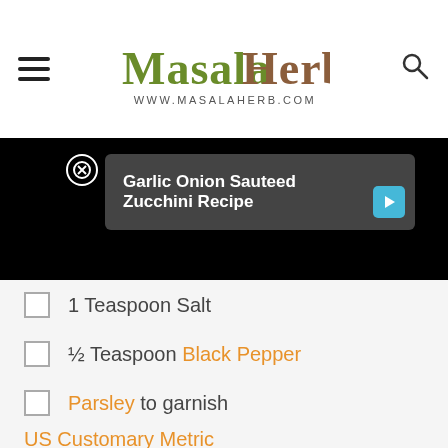Masalo Herb — www.MasalaHerb.com
[Figure (screenshot): Video player showing black screen with ad overlay: 'Garlic Onion Sauteed Zucchini Recipe' with close button and play button]
1 Teaspoon Salt
½ Teaspoon Black Pepper
Parsley to garnish
US Customary  Metric